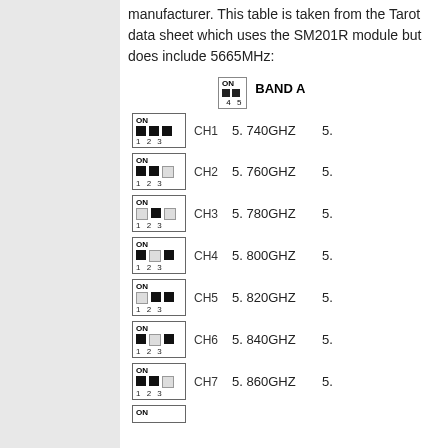manufacturer. This table is taken from the Tarot data sheet which uses the SM201R module but does include 5665MHz:
| Switch | Channel | Band A |  |
| --- | --- | --- | --- |
| ON 45 (both on) | CH1 | 5.740GHZ | 5. |
| ON 1 2 3 | CH2 | 5.760GHZ | 5. |
| ON 1 2 3 | CH3 | 5.780GHZ | 5. |
| ON 1 2 3 | CH4 | 5.800GHZ | 5. |
| ON 1 2 3 | CH5 | 5.820GHZ | 5. |
| ON 1 2 3 | CH6 | 5.840GHZ | 5. |
| ON 1 2 3 | CH7 | 5.860GHZ | 5. |